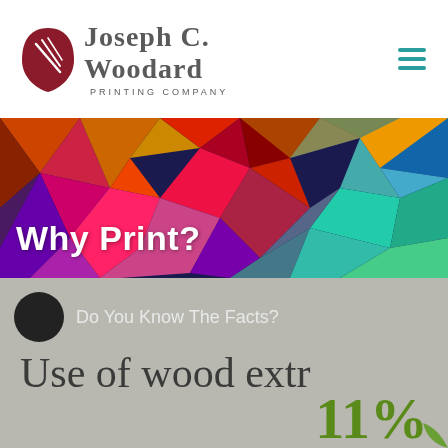[Figure (logo): Joseph C. Woodard Printing Company logo with dark red leaf/quill icon and serif text]
[Figure (infographic): Colorful geometric polygon/crystal art hero banner background]
Why Print?
Do You Know The Facts?
Use of wood extr
11%